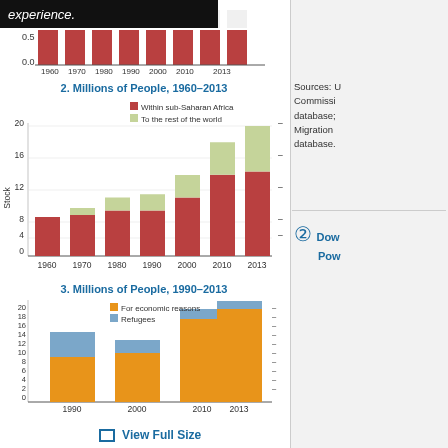[Figure (stacked-bar-chart): 2. Millions of People, 1960–2013]
[Figure (stacked-bar-chart): 3. Millions of People, 1990–2013]
Sources: UN Commission database; Migration database.
Download PowerPoint